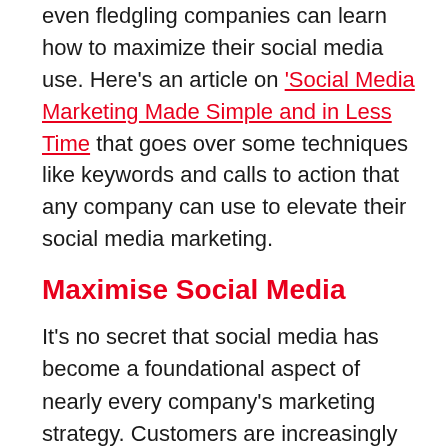even fledgling companies can learn how to maximize their social media use. Here's an article on 'Social Media Marketing Made Simple and in Less Time that goes over some techniques like keywords and calls to action that any company can use to elevate their social media marketing.
Maximise Social Media
It's no secret that social media has become a foundational aspect of nearly every company's marketing strategy. Customers are increasingly turning to social media for information about brands, products, promotions, and more. It's an important tool for companies to utilize, and...